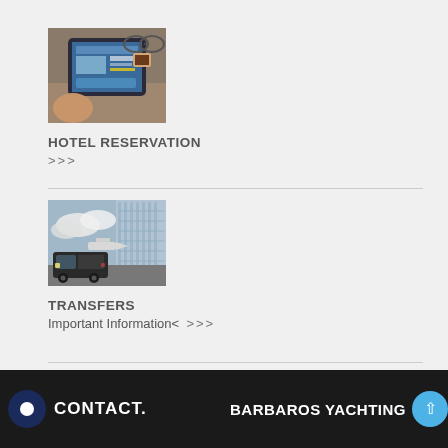[Figure (photo): Photo of a person using a tablet showing a hotel booking interface, with glasses and a coffee cup visible on a wooden table]
HOTEL RESERVATION
>>>
[Figure (photo): Photo of a black van/transfer vehicle at an airport tarmac with a glass building structure in the background]
TRANSFERS
Important Information< >>>
Yacht Holidays Specialist
CONTACT.   BARBAROS YACHTING